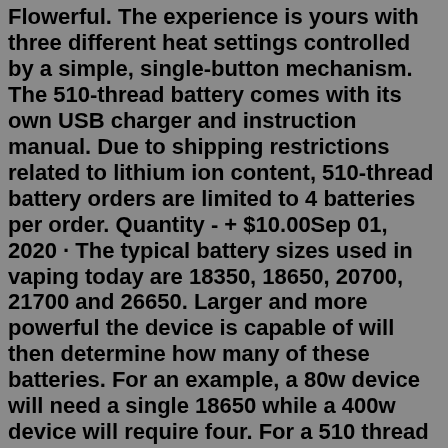Flowerful. The experience is yours with three different heat settings controlled by a simple, single-button mechanism. The 510-thread battery comes with its own USB charger and instruction manual. Due to shipping restrictions related to lithium ion content, 510-thread battery orders are limited to 4 batteries per order. Quantity - + $10.00Sep 01, 2020 · The typical battery sizes used in vaping today are 18350, 18650, 20700, 21700 and 26650. Larger and more powerful the device is capable of will then determine how many of these batteries. For an example, a 80w device will need a single 18650 while a 400w device will require four. For a 510 thread battery like the vape pen will most likely not ... 1 - Smok RPM80. Photo by Element Vape. You can pick up the Smok RPM80 for $31.95. The RPM series from Smok has really taken the vaping industry by storm in the past couple of years, and it's our pick for the best vape pen for e-liquid. It's a hard device to classify, looking essentially like an advanced vape pen - with the basic layout ...Battery: 2x 18650 cells (not included)